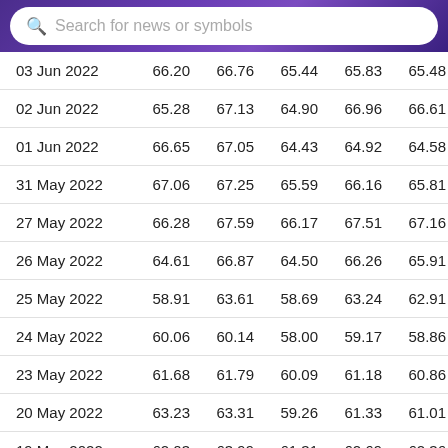Search for news or symbols
| Date | Open | High | Low | Close | Adj Close | Volume |
| --- | --- | --- | --- | --- | --- | --- |
| 03 Jun 2022 | 66.20 | 66.76 | 65.44 | 65.83 | 65.48 | 4,75 |
| 02 Jun 2022 | 65.28 | 67.13 | 64.90 | 66.96 | 66.61 | 5,43 |
| 01 Jun 2022 | 66.65 | 67.05 | 64.43 | 64.92 | 64.58 | 4,94 |
| 31 May 2022 | 67.06 | 67.25 | 65.59 | 66.16 | 65.81 | 7,84 |
| 27 May 2022 | 66.28 | 67.59 | 66.17 | 67.51 | 67.16 | 5,75 |
| 26 May 2022 | 64.61 | 66.87 | 64.50 | 66.26 | 65.91 | 8,82 |
| 25 May 2022 | 58.91 | 63.61 | 58.69 | 63.24 | 62.91 | 12,92 |
| 24 May 2022 | 60.06 | 60.14 | 58.00 | 59.17 | 58.86 | 7,48 |
| 23 May 2022 | 61.68 | 61.79 | 60.09 | 61.18 | 60.86 | 4,51 |
| 20 May 2022 | 63.23 | 63.31 | 59.26 | 61.33 | 61.01 | 11,37 |
| 19 May 2022 | 62.03 | 63.99 | 61.31 | 62.69 | 62.36 | 8,50 |